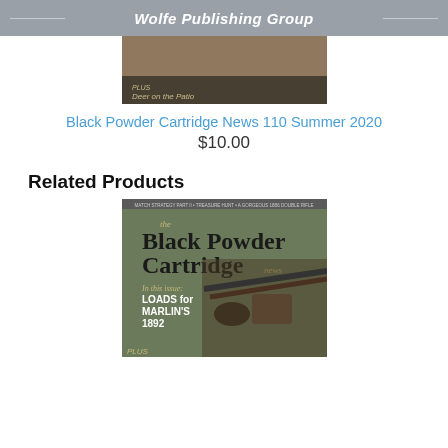Wolfe Publishing Group
[Figure (photo): Partial magazine cover image showing a person's legs and feet with text 'PLUS Deer on the Patio' in lower portion]
Black Powder Cartridge News 110 Summer 2020
$10.00
Related Products
[Figure (photo): Magazine cover of 'the Black Powder Cartridge news' featuring text 'In this issue LOADS for MARLIN'S 1892' and an image of a rifle, with small text at top reading 'MATCH STRATEGY PART II • TREASURE HUNT • A GORGEOUS 1886 DOUBLE RIFLE']